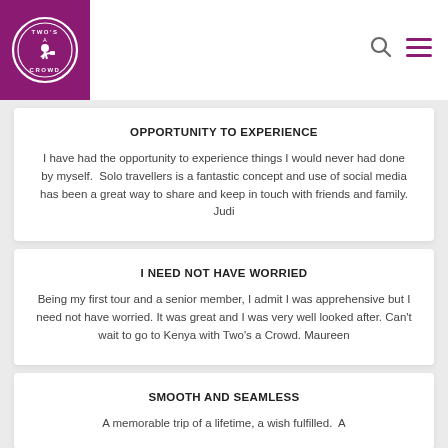[Figure (logo): Two's a Crowd circular logo — white text and figure on purple/magenta square background]
OPPORTUNITY TO EXPERIENCE
I have had the opportunity to experience things I would never had done by myself.  Solo travellers is a fantastic concept and use of social media has been a great way to share and keep in touch with friends and family. Judi
I NEED NOT HAVE WORRIED
Being my first tour and a senior member, I admit I was apprehensive but I need not have worried. It was great and I was very well looked after. Can't wait to go to Kenya with Two's a Crowd. Maureen
SMOOTH AND SEAMLESS
A memorable trip of a lifetime, a wish fulfilled.  A